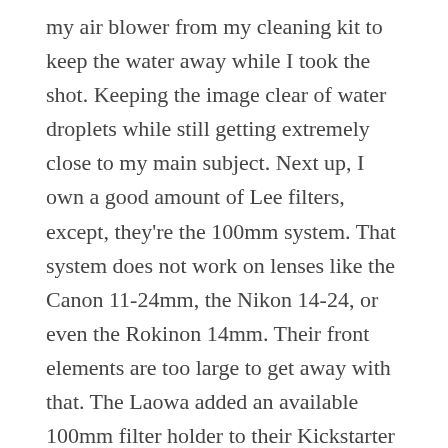my air blower from my cleaning kit to keep the water away while I took the shot. Keeping the image clear of water droplets while still getting extremely close to my main subject. Next up, I own a good amount of Lee filters, except, they're the 100mm system. That system does not work on lenses like the Canon 11-24mm, the Nikon 14-24, or even the Rokinon 14mm. Their front elements are too large to get away with that. The Laowa added an available 100mm filter holder to their Kickstarter because they reached a goal. That's simply amazing! Having a lens like this being able to take my existing filter system shaves off a hefty investment. Otherwise, you're looking at purchasing a completely separate filter system for a single lens. Not a very cost efficient way of doing things. Finally, the team has also started to work on an adaptor which converts the